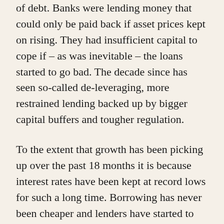of debt. Banks were lending money that could only be paid back if asset prices kept on rising. They had insufficient capital to cope if – as was inevitable – the loans started to go bad. The decade since has seen so-called de-leveraging, more restrained lending backed up by bigger capital buffers and tougher regulation.
To the extent that growth has been picking up over the past 18 months it is because interest rates have been kept at record lows for such a long time. Borrowing has never been cheaper and lenders have started to forget just how tough life was back in 2008.
Ruchir Sharma, chief global strategist and head of emerging markets at Morgan Stanley Investment Management, noted in a recent